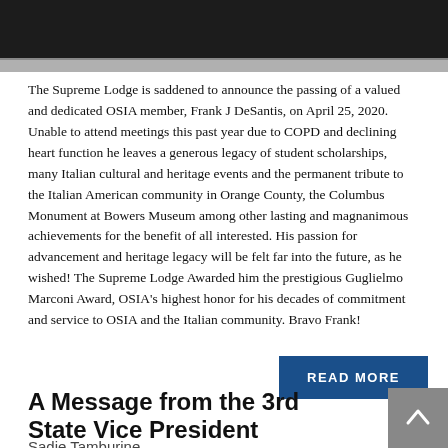[Figure (photo): Partial cropped photograph of a person in formal attire (tuxedo), showing upper body/torso area, black and white or dark tones]
The Supreme Lodge is saddened to announce the passing of a valued and dedicated OSIA member, Frank J DeSantis, on April 25, 2020. Unable to attend meetings this past year due to COPD and declining heart function he leaves a generous legacy of student scholarships, many Italian cultural and heritage events and the permanent tribute to the Italian American community in Orange County, the Columbus Monument at Bowers Museum among other lasting and magnanimous achievements for the benefit of all interested. His passion for advancement and heritage legacy will be felt far into the future, as he wished! The Supreme Lodge Awarded him the prestigious Guglielmo Marconi Award, OSIA's highest honor for his decades of commitment and service to OSIA and the Italian community. Bravo Frank!
READ MORE
A Message from the 3rd State Vice President
Sadie Tamburine